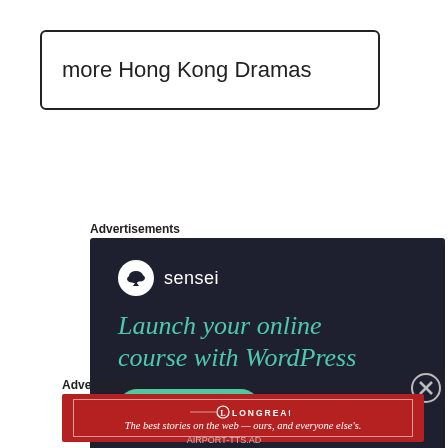more Hong Kong Dramas
Advertisements
[Figure (illustration): Sensei advertisement on dark background: logo circle with tree icon, text 'sensei', headline 'Launch your online course with WordPress', and a teal 'Learn More' button.]
Advertisements
[Figure (illustration): Longreads advertisement: red background with Longreads logo and tagline 'The best stories on the web — ours, and everyone else's.']